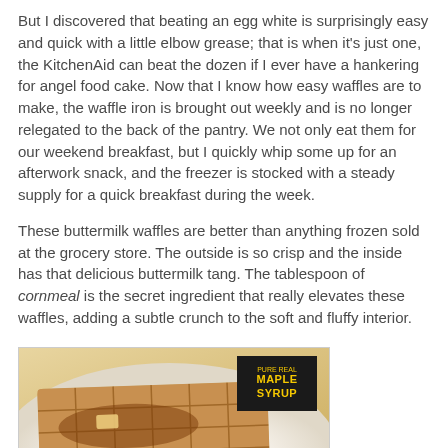But I discovered that beating an egg white is surprisingly easy and quick with a little elbow grease; that is when it's just one, the KitchenAid can beat the dozen if I ever have a hankering for angel food cake. Now that I know how easy waffles are to make, the waffle iron is brought out weekly and is no longer relegated to the back of the pantry. We not only eat them for our weekend breakfast, but I quickly whip some up for an afterwork snack, and the freezer is stocked with a steady supply for a quick breakfast during the week.

These buttermilk waffles are better than anything frozen sold at the grocery store. The outside is so crisp and the inside has that delicious buttermilk tang. The tablespoon of cornmeal is the secret ingredient that really elevates these waffles, adding a subtle crunch to the soft and fluffy interior.
[Figure (photo): A golden-brown waffle on a white plate with maple syrup drizzled on top, and a black Maple Syrup bottle/box visible in the upper right of the image.]